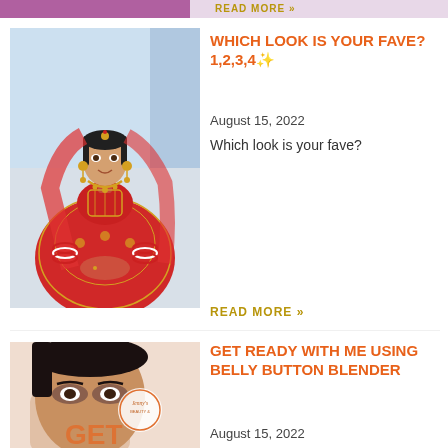READ MORE »
[Figure (photo): Indian bride wearing red bridal lehenga with gold embroidery, traditional jewelry and dupatta]
WHICH LOOK IS YOUR FAVE? 1,2,3,4✨
August 15, 2022
Which look is your fave?
READ MORE »
[Figure (photo): Woman's face partially visible with text overlay and logo for beauty/makeup content, text GET visible at bottom]
GET READY WITH ME USING BELLY BUTTON BLENDER
August 15, 2022